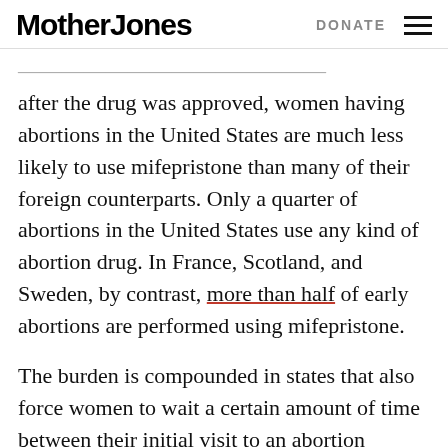Mother Jones | DONATE
after the drug was approved, women having abortions in the United States are much less likely to use mifepristone than many of their foreign counterparts. Only a quarter of abortions in the United States use any kind of abortion drug. In France, Scotland, and Sweden, by contrast, more than half of early abortions are performed using mifepristone.
The burden is compounded in states that also force women to wait a certain amount of time between their initial visit to an abortion provider and the day of the procedure. In those states, such as Texas, it takes a woman four in-person trips to the doctor for